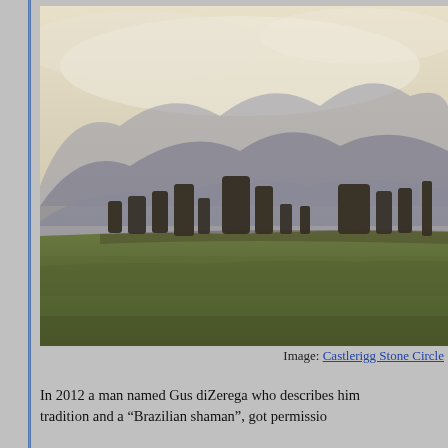[Figure (photo): Photograph of Castlerigg Stone Circle: standing stones on a green field with misty mountains in the background under a pale sky.]
Image: Castlerigg Stone Circle
In 2012 a man named Gus diZerega who describes him tradition and a “Brazilian shaman”, got permissio